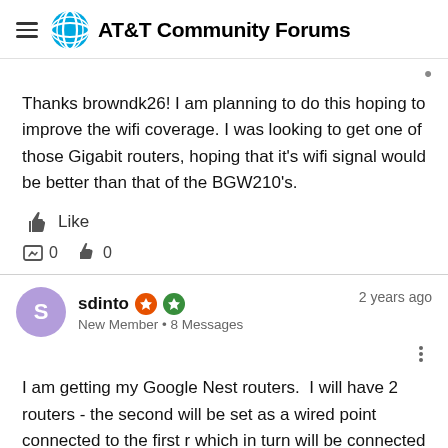AT&T Community Forums
Thanks browndk26! I am planning to do this hoping to improve the wifi coverage. I was looking to get one of those Gigabit routers, hoping that it's wifi signal would be better than that of the BGW210's.
Like
0   0
sdinto  New Member • 8 Messages  2 years ago
I am getting my Google Nest routers.  I will have 2 routers - the second will be set as a wired point connected to the first r which in turn will be connected to the BGW210.  Wish me